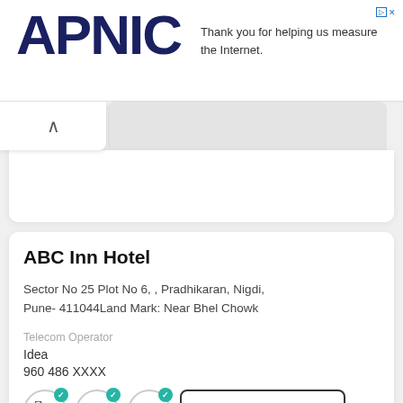APNIC — Thank you for helping us measure the Internet.
ABC Inn Hotel
Sector No 25 Plot No 6,  , Pradhikaran, Nigdi, Pune- 411044Land Mark: Near Bhel Chowk
Telecom Operator
Idea
960 486 XXXX
[Figure (infographic): Three circular icons with teal checkmarks (phone, list/document, house) and a View Details button]
State